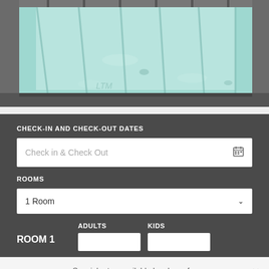[Figure (photo): Top portion of an indoor swimming pool with light teal/turquoise water, pool lane markings visible on the bottom, and dark tiled surround. The image is cropped showing only the top portion.]
CHECK-IN AND CHECK-OUT DATES
Check in & Check Out
ROOMS
1 Room
ROOM 1
ADULTS
KIDS
Special rates available by phone for Regina
Call Now: (844) 656-1783